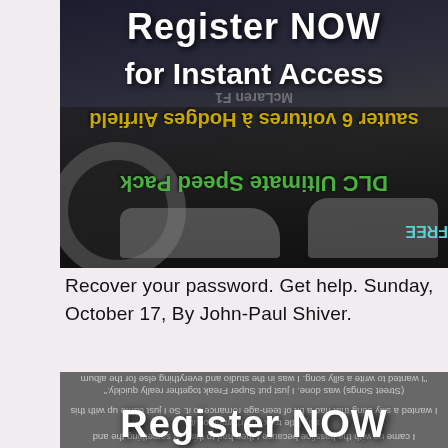[Figure (photo): Screenshot of a website banner showing 'Register NOW for Instant Access' in white bold text over a dark background with cars. Mirrored/flipped text overlays in yellow and green including 'sauter 6 voitures à Hodges Airfield', 'DLC Ultimate Speed Pack', and teal mirrored text at bottom.]
Recover your password. Get help. Sunday, October 17, By John-Paul Shiver.
[Figure (screenshot): Dark grey image block with multiple lines of mirrored/upside-down grey text and a large white 'Register NOW' overlay text at the bottom.]